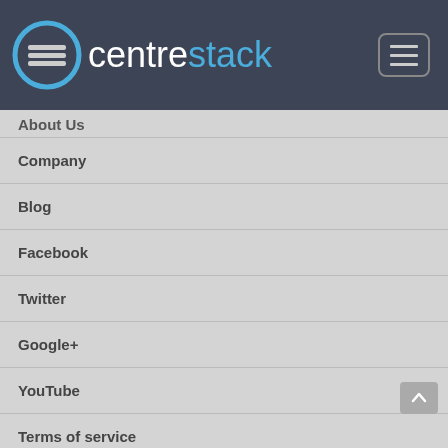centrestack
About Us
Company
Blog
Facebook
Twitter
Google+
YouTube
Terms of service
Contact Us
Press
Articles
Privacy
GDPR White Paper
Customers
©2018 GLADINET INC. ALL RIGHTS RESERVED.